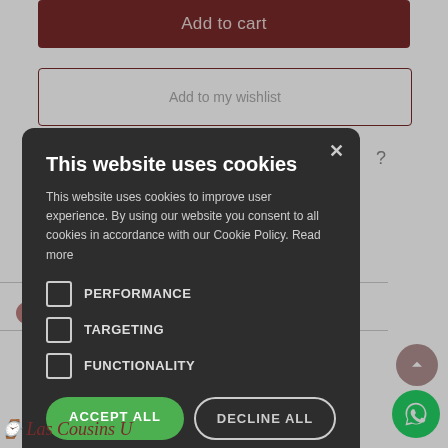[Figure (screenshot): E-commerce page background showing 'Add to cart' button in dark red, 'Add to my wishlist' button outline, a question mark, horizontal divider lines, and italic text at bottom]
This website uses cookies
This website uses cookies to improve user experience. By using our website you consent to all cookies in accordance with our Cookie Policy. Read more
PERFORMANCE
TARGETING
FUNCTIONALITY
ACCEPT ALL
DECLINE ALL
SHOW DETAILS
POWERED BY COOKIE-SCRIPT